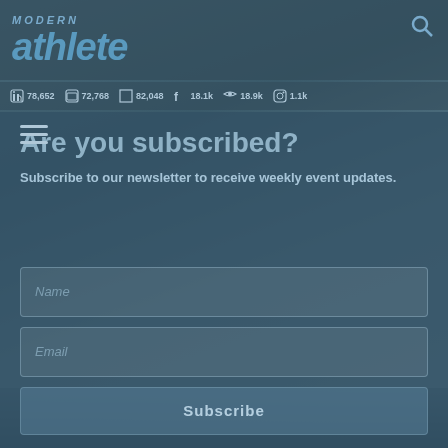MODERN athlete
78,652  72,768  82,048  f 18.1k  18.9k  1.1k
Are you subscribed?
Subscribe to our newsletter to receive weekly event updates.
[Figure (screenshot): Input field placeholder: Name]
[Figure (screenshot): Input field placeholder: Email]
[Figure (screenshot): Subscribe button]